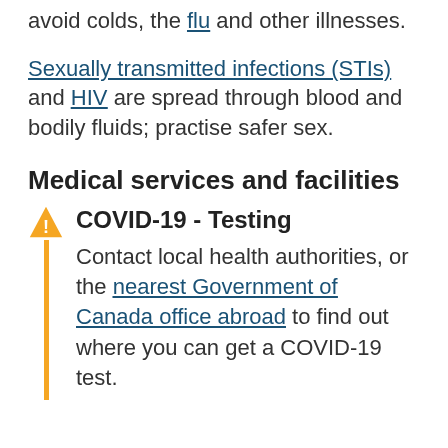avoid colds, the flu and other illnesses.
Sexually transmitted infections (STIs) and HIV are spread through blood and bodily fluids; practise safer sex.
Medical services and facilities
COVID-19 - Testing
Contact local health authorities, or the nearest Government of Canada office abroad to find out where you can get a COVID-19 test.